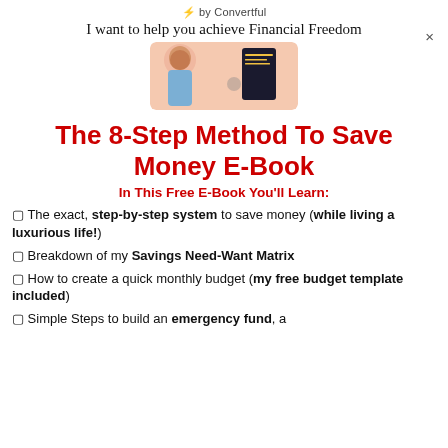⚡ by Convertful
I want to help you achieve Financial Freedom
[Figure (photo): Promotional image showing a person and an e-book cover on a peach/orange background]
The 8-Step Method To Save Money E-Book
In This Free E-Book You'll Learn:
✓ The exact, step-by-step system to save money (while living a luxurious life!)
✓ Breakdown of my Savings Need-Want Matrix
✓ How to create a quick monthly budget (my free budget template included)
✓ Simple Steps to build an emergency fund, a